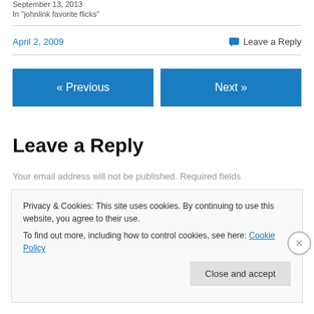September 13, 2013
In "johnlink favorite flicks"
April 2, 2009
💬 Leave a Reply
« Previous
Next »
Leave a Reply
Your email address will not be published. Required fields
Privacy & Cookies: This site uses cookies. By continuing to use this website, you agree to their use.
To find out more, including how to control cookies, see here: Cookie Policy
Close and accept